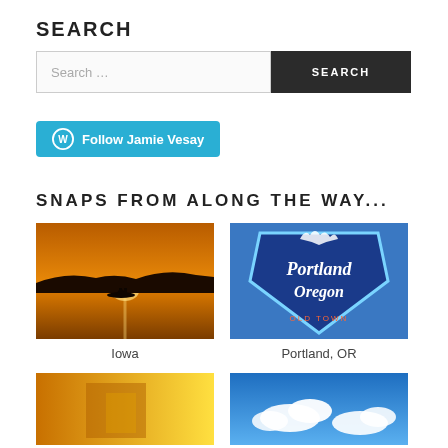SEARCH
Search ...
Follow Jamie Vesay
SNAPS FROM ALONG THE WAY...
[Figure (photo): Sunset on a lake with a small boat silhouetted against golden water]
Iowa
[Figure (photo): Portland Oregon neon sign at night, Old Town]
Portland, OR
[Figure (photo): Yellow-lit room interior with what appears to be a person]
[Figure (photo): Blue sky with white clouds]